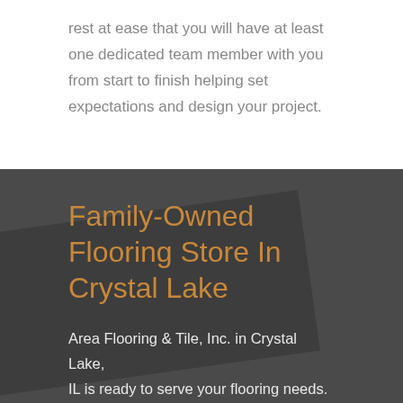rest at ease that you will have at least one dedicated team member with you from start to finish helping set expectations and design your project.
Family-Owned Flooring Store In Crystal Lake
Area Flooring & Tile, Inc. in Crystal Lake, IL is ready to serve your flooring needs. We are a family-owned company in the area...